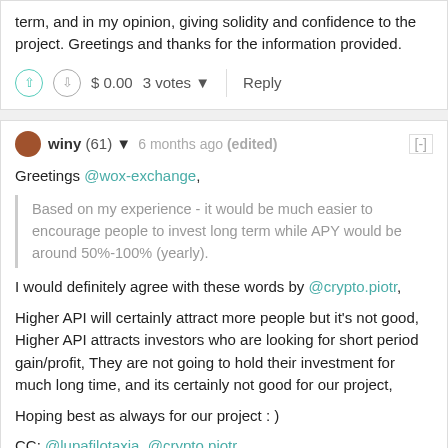term, and in my opinion, giving solidity and confidence to the project. Greetings and thanks for the information provided.
$ 0.00   3 votes   Reply
winy (61) 6 months ago (edited)
Greetings @wox-exchange,
Based on my experience - it would be much easier to encourage people to invest long term while APY would be around 50%-100% (yearly).
I would definitely agree with these words by @crypto.piotr,
Higher API will certainly attract more people but it's not good, Higher API attracts investors who are looking for short period gain/profit, They are not going to hold their investment for much long time, and its certainly not good for our project,
Hoping best as always for our project : )
CC: @lupafilotaxia, @crypto.piotr
Thank you so much for the update : )
Regards,